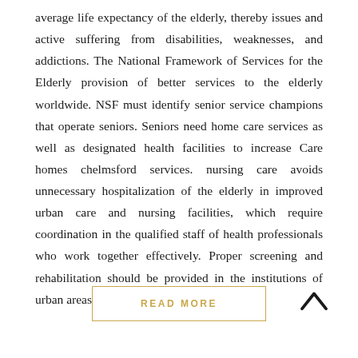average life expectancy of the elderly, thereby issues and active suffering from disabilities, weaknesses, and addictions. The National Framework of Services for the Elderly provision of better services to the elderly worldwide. NSF must identify senior service champions that operate seniors. Seniors need home care services as well as designated health facilities to increase Care homes chelmsford services. nursing care avoids unnecessary hospitalization of the elderly in improved urban care and nursing facilities, which require coordination in the qualified staff of health professionals who work together effectively. Proper screening and rehabilitation should be provided in the institutions of urban areas and should...
READ MORE